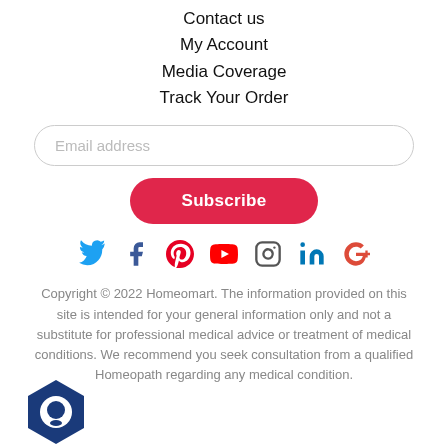Contact us
My Account
Media Coverage
Track Your Order
Email address
Subscribe
[Figure (other): Social media icons: Twitter, Facebook, Pinterest, YouTube, Instagram, LinkedIn, Google+]
Copyright © 2022 Homeomart. The information provided on this site is intended for your general information only and not a substitute for professional medical advice or treatment of medical conditions. We recommend you seek consultation from a qualified Homeopath regarding any medical condition.
[Figure (logo): Hexagonal chat widget logo in blue]